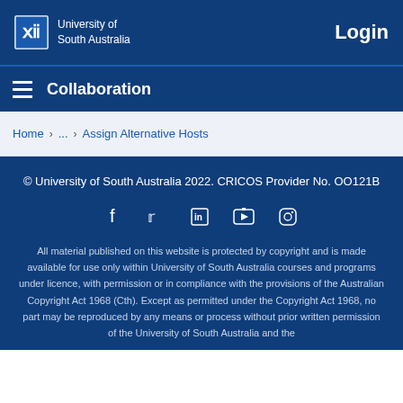University of South Australia — Login
Collaboration
Home › ... › Assign Alternative Hosts
© University of South Australia 2022. CRICOS Provider No. OO121B
[Figure (other): Social media icons: Facebook, Twitter, LinkedIn, YouTube, Instagram]
All material published on this website is protected by copyright and is made available for use only within University of South Australia courses and programs under licence, with permission or in compliance with the provisions of the Australian Copyright Act 1968 (Cth). Except as permitted under the Copyright Act 1968, no part may be reproduced by any means or process without prior written permission of the University of South Australia and the